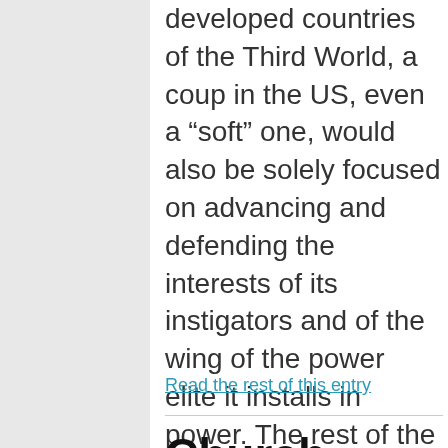developed countries of the Third World, a coup in the US, even a “soft” one, would also be solely focused on advancing and defending the interests of its instigators and of the wing of the power elite it installs in power. The rest of the world would hardly matter.
Read the rest of this entry
Church groups reject terrorist-